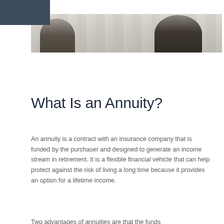[Figure (photo): Banner photo showing two people (partially visible, silhouetted) in an office or indoor setting, with a dark rectangular logo block in the upper left corner overlapping the image.]
What Is an Annuity?
An annuity is a contract with an insurance company that is funded by the purchaser and designed to generate an income stream in retirement. It is a flexible financial vehicle that can help protect against the risk of living a long time because it provides an option for a lifetime income.
Two advantages of annuities are that the funds